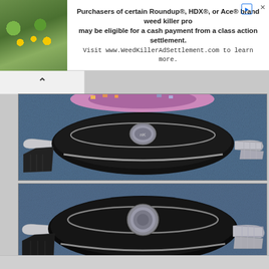[Figure (photo): Advertisement banner with nature photo on left (yellow flowers and green foliage) and text about Roundup/HDX/Ace weed killer class action settlement, with Visit www.WeedKillerAdSettlement.com to learn more.]
[Figure (photo): Top photograph showing the side profile of a wristwatch case with crown/pusher visible, stainless steel case with black bezel, partial colorful dial at top, leather strap on left and metal bracelet/chain on right, blue textile background.]
[Figure (photo): Bottom photograph showing the side profile of a second wristwatch case with a larger round crown/pusher, stainless steel case with black bezel, leather strap on left and metal bracelet on right, blue textile background.]